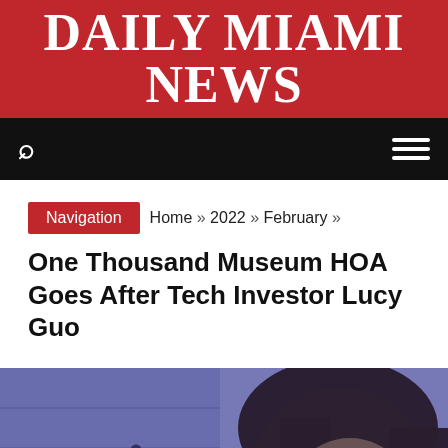DAILY MIAMI NEWS
Navigation  Home » 2022 » February »
One Thousand Museum HOA Goes After Tech Investor Lucy Guo
[Figure (photo): Photo of a woman (Lucy Guo) with dark hair in the foreground; silhouettes of raised hands visible in the background against a purple-blue tinted building facade.]